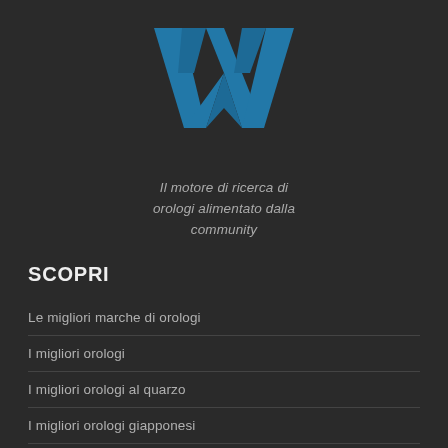[Figure (logo): Stylized blue 'W' logo mark for a watch search engine]
Il motore di ricerca di orologi alimentato dalla community
SCOPRI
Le migliori marche di orologi
I migliori orologi
I migliori orologi al quarzo
I migliori orologi giapponesi
I migliori orologi americani